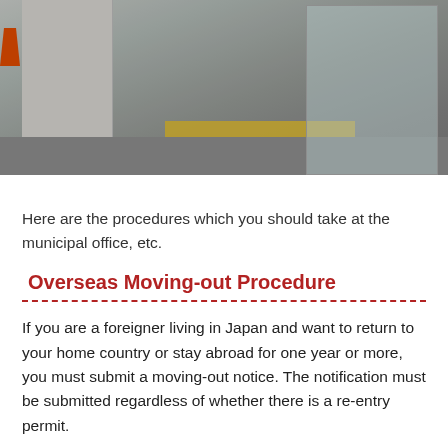[Figure (photo): Exterior photo of a municipal office building entrance with a concrete pillar, automatic glass doors, flower decorations, and yellow tactile paving strips on the floor.]
Here are the procedures which you should take at the municipal office, etc.
Overseas Moving-out Procedure
If you are a foreigner living in Japan and want to return to your home country or stay abroad for one year or more, you must submit a moving-out notice. The notification must be submitted regardless of whether there is a re-entry permit.